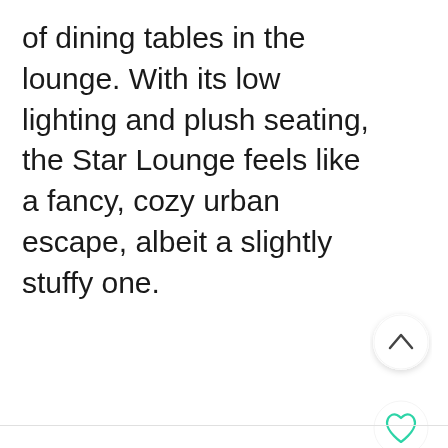of dining tables in the lounge. With its low lighting and plush seating, the Star Lounge feels like a fancy, cozy urban escape, albeit a slightly stuffy one.
[Figure (other): Three circular UI buttons: an up-chevron button (white), a heart/favorite button (white), and a search button (teal/green)]